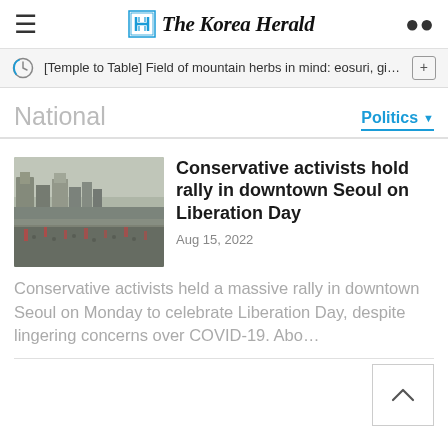The Korea Herald
[Temple to Table] Field of mountain herbs in mind: eosuri, ginsen…
National
Politics
Conservative activists hold rally in downtown Seoul on Liberation Day
Aug 15, 2022
[Figure (photo): Aerial view of a large crowd rally in downtown Seoul]
Conservative activists held a massive rally in downtown Seoul on Monday to celebrate Liberation Day, despite lingering concerns over COVID-19. Abo…